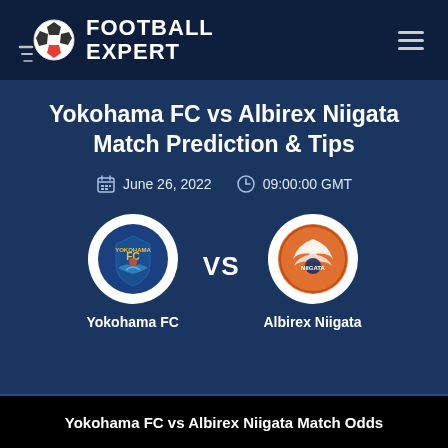FOOTBALL EXPERT
Yokohama FC vs Albirex Niigata Match Prediction & Tips
June 26, 2022   09:00:00 GMT
[Figure (illustration): Yokohama FC club logo in white circle]
[Figure (illustration): Albirex Niigata club logo in white circle]
Yokohama FC
Albirex Niigata
Yokohama FC vs Albirex Niigata Match Odds